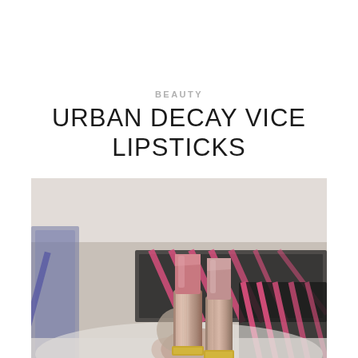BEAUTY
URBAN DECAY VICE LIPSTICKS
[Figure (photo): Close-up photo of two Urban Decay Vice lipsticks standing upright with their caps off, showing pink/rose colored lipstick bullets. The lipsticks have metallic gold and silver tubes. In the background are Urban Decay product boxes with pink and black packaging.]